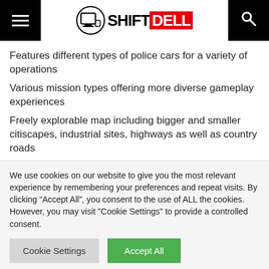SHIFT DELL
Features different types of police cars for a variety of operations
Various mission types offering more diverse gameplay experiences
Freely explorable map including bigger and smaller citiscapes, industrial sites, highways as well as country roads
We use cookies on our website to give you the most relevant experience by remembering your preferences and repeat visits. By clicking “Accept All”, you consent to the use of ALL the cookies. However, you may visit “Cookie Settings” to provide a controlled consent.
Cookie Settings | Accept All